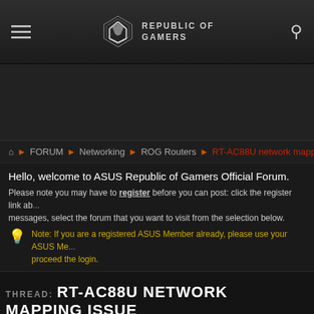REPUBLIC OF GAMERS
FORUM → Networking → ROG Routers → RT-AC88U network mapping is
Hello, welcome to ASUS Republic of Gamers Official Forum.
Please note you may have to register before you can post: click the register link above to proceed. To start viewing messages, select the forum that you want to visit from the selection below.
💡 Note: If you are a registered ASUS Member already, please use your ASUS Me... proceed the login.
THREAD: RT-AC88U NETWORK MAPPING ISSUE
Thread T
09-26-2018 09:31 AM
nameuser •
RT-AC88U devices can't commu